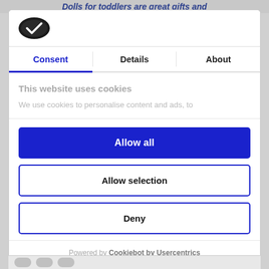Dolls for toddlers are great gifts and
[Figure (logo): Cookiebot logo - dark oval shape with white checkmark]
Consent | Details | About
This website uses cookies
We use cookies to personalise content and ads, to
Allow all
Allow selection
Deny
Powered by Cookiebot by Usercentrics